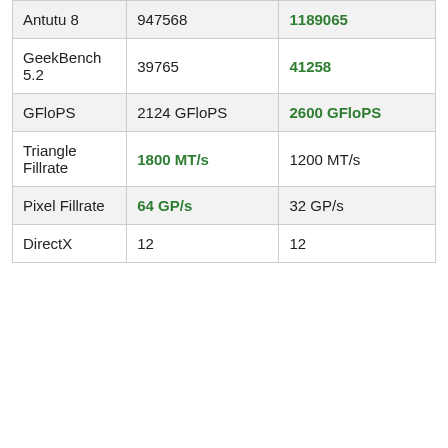| Antutu 8 | 947568 | 1189065 |
| GeekBench 5.2 | 39765 | 41258 |
| GFloPS | 2124 GFloPS | 2600 GFloPS |
| Triangle Fillrate | 1800 MT/s | 1200 MT/s |
| Pixel Fillrate | 64 GP/s | 32 GP/s |
| DirectX | 12 | 12 |